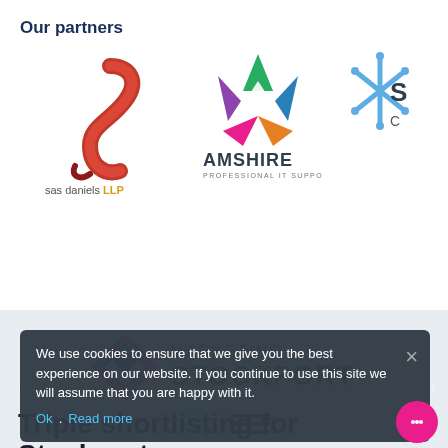Our partners
[Figure (logo): SAS Daniels LLP Solicitors logo — red S-curve shape above text 'sas daniels LLP Solicitors']
[Figure (logo): Amshire Professional IT Support logo — colorful star/pentagon shape above text 'AMSHIRE PROFESSIONAL IT SUPPORT']
[Figure (logo): Partial third partner logo — blue snowflake/star shape, partially cropped]
[Figure (logo): Marketing Stockport logo — pink/blue diamond envelope icon with 'MARKETING STOCKPORT' text, with search and menu icons below]
We use cookies to ensure that we give you the best experience on our website. If you continue to use this site we will assume that you are happy with it.
You are here: Home / News / Triple shortlisting for Stockport NHS Foundation Trust at the HSJ Patient Safety Awards
Triple shortlisting for Stockport